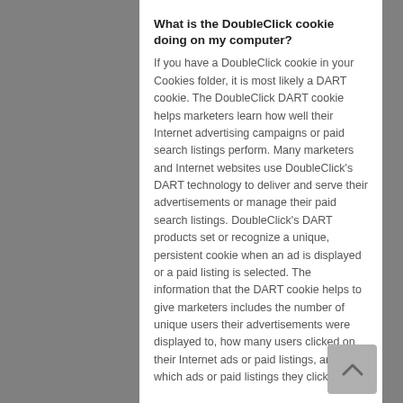What is the DoubleClick cookie doing on my computer?
If you have a DoubleClick cookie in your Cookies folder, it is most likely a DART cookie. The DoubleClick DART cookie helps marketers learn how well their Internet advertising campaigns or paid search listings perform. Many marketers and Internet websites use DoubleClick's DART technology to deliver and serve their advertisements or manage their paid search listings. DoubleClick's DART products set or recognize a unique, persistent cookie when an ad is displayed or a paid listing is selected. The information that the DART cookie helps to give marketers includes the number of unique users their advertisements were displayed to, how many users clicked on their Internet ads or paid listings, and which ads or paid listings they clicked on.
Why does your cookie keep coming back after I delete it?